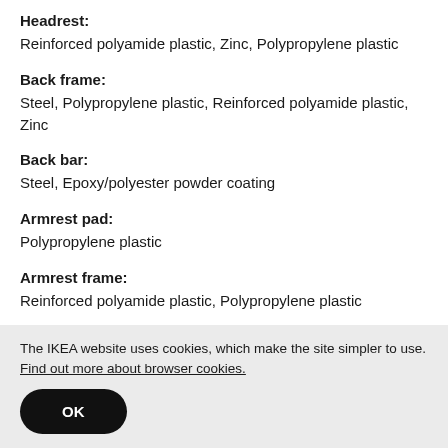Headrest:
Reinforced polyamide plastic, Zinc, Polypropylene plastic
Back frame:
Steel, Polypropylene plastic, Reinforced polyamide plastic, Zinc
Back bar:
Steel, Epoxy/polyester powder coating
Armrest pad:
Polypropylene plastic
Armrest frame:
Reinforced polyamide plastic, Polypropylene plastic
The IKEA website uses cookies, which make the site simpler to use. Find out more about browser cookies.